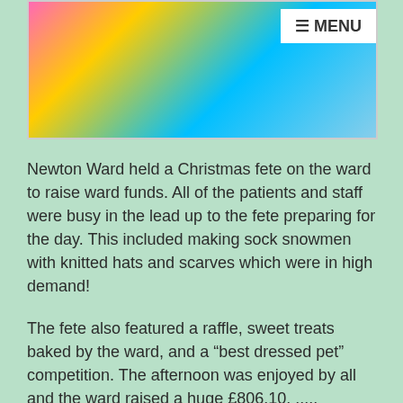[Figure (photo): Colorful balloons and ribbons photo with bright pink, yellow, and blue colors]
Newton Ward held a Christmas fete on the ward to raise ward funds. All of the patients and staff were busy in the lead up to the fete preparing for the day. This included making sock snowmen with knitted hats and scarves which were in high demand!
The fete also featured a raffle, sweet treats baked by the ward, and a “best dressed pet” competition. The afternoon was enjoyed by all and the ward raised a huge £806.10. .....